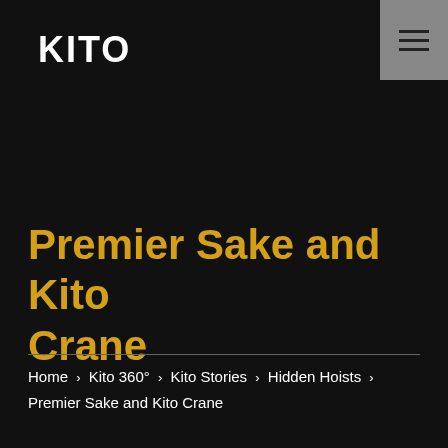[Figure (logo): KITO logo in white bold text on black background]
Premier Sake and Kito Crane
Home › Kito 360° › Kito Stories › Hidden Hoists › Premier Sake and Kito Crane